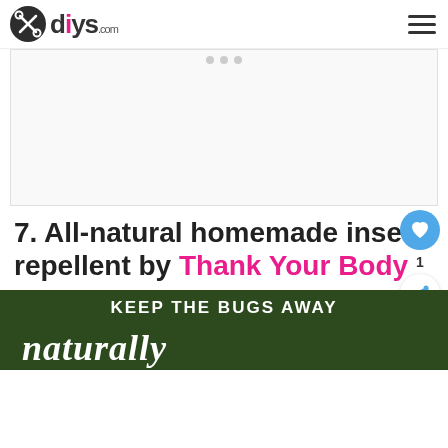diys.com
[Figure (other): Advertisement placeholder with gray background and three small dots at top center]
7. All-natural homemade insect repellent by Thank Your Body
[Figure (other): Bottom banner image showing 'KEEP THE BUGS AWAY naturally' on a dark green background with an insect image]
WHAT'S NEXT → 7 Good Bugs for Your...